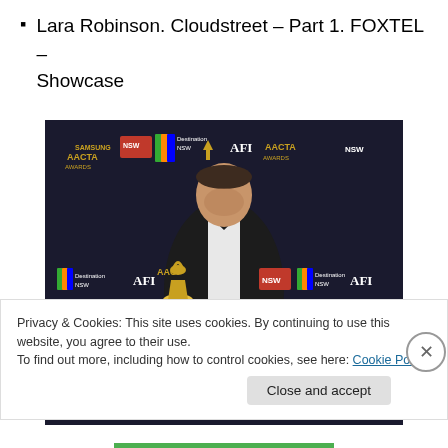Lara Robinson. Cloudstreet – Part 1. FOXTEL – Showcase
[Figure (photo): Man in black tuxedo with bow tie holding a gold AACTA Award trophy, standing in front of a backdrop with Samsung AACTA Awards, AFI, Destination NSW, and NSW logos.]
Privacy & Cookies: This site uses cookies. By continuing to use this website, you agree to their use.
To find out more, including how to control cookies, see here: Cookie Policy
Close and accept